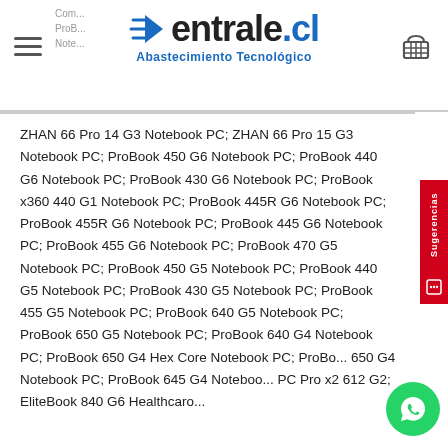centrale.cl — Abastecimiento Tecnológico
ZHAN 66 Pro 14 G3 Notebook PC; ZHAN 66 Pro 15 G3 Notebook PC; ProBook 450 G6 Notebook PC; ProBook 440 G6 Notebook PC; ProBook 430 G6 Notebook PC; ProBook x360 440 G1 Notebook PC; ProBook 445R G6 Notebook PC; ProBook 455R G6 Notebook PC; ProBook 445 G6 Notebook PC; ProBook 455 G6 Notebook PC; ProBook 470 G5 Notebook PC; ProBook 450 G5 Notebook PC; ProBook 440 G5 Notebook PC; ProBook 430 G5 Notebook PC; ProBook 455 G5 Notebook PC; ProBook 640 G5 Notebook PC; ProBook 650 G5 Notebook PC; ProBook 640 G4 Notebook PC; ProBook 650 G4 Hex Core Notebook PC; ProBook 650 G4 Notebook PC; ProBook 645 G4 Notebook PC; Pro x2 612 G2; EliteBook 840 G6 Healthcare...